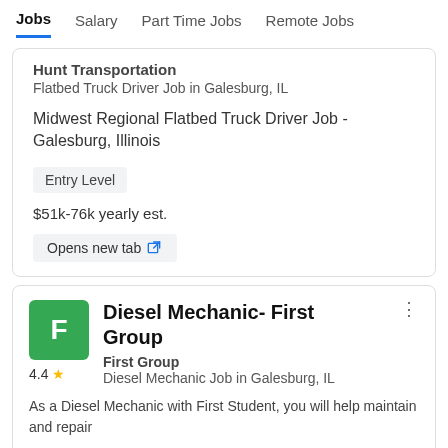Jobs  Salary  Part Time Jobs  Remote Jobs
Hunt Transportation
Flatbed Truck Driver Job in Galesburg, IL

Midwest Regional Flatbed Truck Driver Job - Galesburg, Illinois

Entry Level

$51k-76k yearly est.

Opens new tab
Diesel Mechanic- First Group
First Group
Diesel Mechanic Job in Galesburg, IL

As a Diesel Mechanic with First Student, you will help maintain and repair